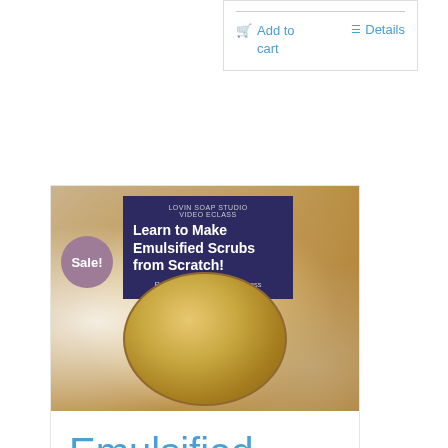[Figure (screenshot): Top-right e-commerce card section showing Add to cart and Details buttons]
Add to cart
Details
[Figure (photo): Product listing card showing an emulsified sugar scrub in a glass bowl with white powder background. Overlay card reads: LOVIN SOAP STUDIO VIDEO ECLASS - Learn to Make Emulsified Scrubs from Scratch! - Recipe + Formulation + Process. Sale badge visible.]
Emulsified Scrubs Video eClass